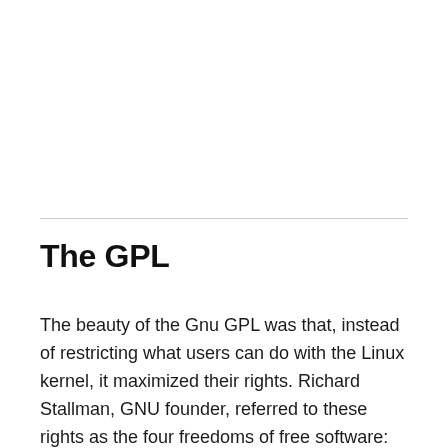The GPL
The beauty of the Gnu GPL was that, instead of restricting what users can do with the Linux kernel, it maximized their rights. Richard Stallman, GNU founder, referred to these rights as the four freedoms of free software: the freedom to run, copy,